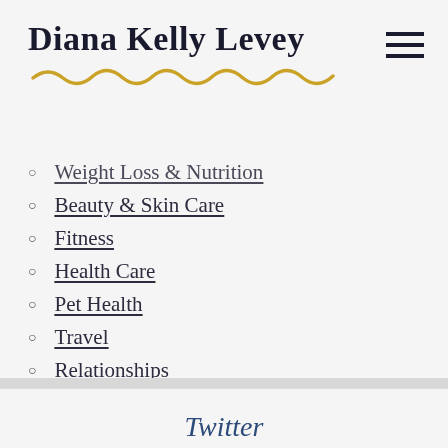Diana Kelly Levey
Weight Loss & Nutrition
Beauty & Skin Care
Fitness
Health Care
Pet Health
Travel
Relationships
Personal Finance
Pregnancy & Parenting
Profiles
Others
Twitter